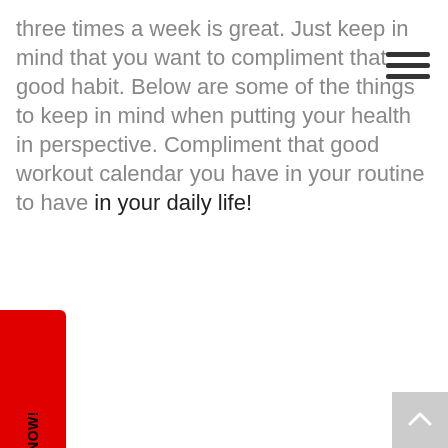three times a week is great. Just keep in mind that you want to compliment that good habit. Below are some of the things to keep in mind when putting your health in perspective. Compliment that good workout calendar you have in your routine to have in your daily life!
[Figure (other): Hamburger menu icon (three horizontal lines) in top right corner]
Contact Damien NOW!